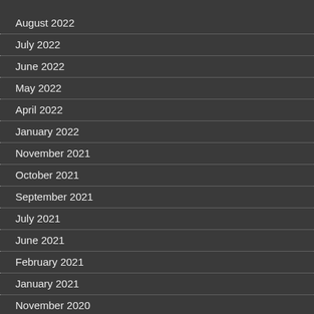August 2022
July 2022
June 2022
May 2022
April 2022
January 2022
November 2021
October 2021
September 2021
July 2021
June 2021
February 2021
January 2021
November 2020